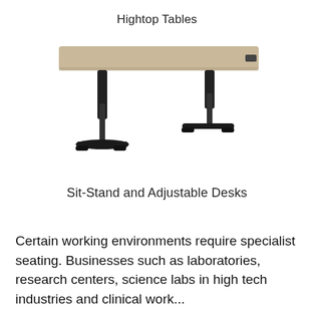Hightop Tables
[Figure (photo): A sit-stand height-adjustable desk with a light wood-grain rectangular top surface and black T-shaped metal legs with adjustable columns.]
Sit-Stand and Adjustable Desks
Certain working environments require specialist seating. Businesses such as laboratories, research centers, science labs in high tech industries and clinical work...